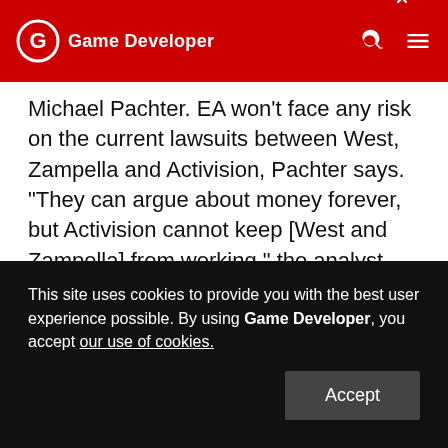Game Developer
Michael Pachter. EA won't face any risk on the current lawsuits between West, Zampella and Activision, Pachter says. "They can argue about money forever, but Activision cannot keep [West and Zampella] from working," the analyst says. Noncompetition agreements are typically voided when employees are fired, and even if a court finds wrongdoing, it's up to West and Zampella to pay: "It's not EA's problem," says the analyst. But Activision could try to build a case that shows West and Zampella developed their ideas for the current
This site uses cookies to provide you with the best user experience possible. By using Game Developer, you accept our use of cookies.